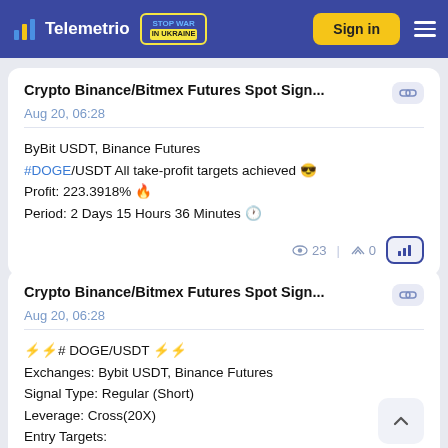Telemetrio | STOP WAR IN UKRAINE | Sign in
Crypto Binance/Bitmex Futures Spot Sign...
Aug 20, 06:28
ByBit USDT, Binance Futures
#DOGE/USDT All take-profit targets achieved 😎
Profit: 223.3918% 🔥
Period: 2 Days 15 Hours 36 Minutes 🕐
👁 23  ↗ 0
Crypto Binance/Bitmex Futures Spot Sign...
Aug 20, 06:28
⚡⚡# DOGE/USDT ⚡⚡
Exchanges: Bybit USDT, Binance Futures
Signal Type: Regular (Short)
Leverage: Cross(20X)
Entry Targets: